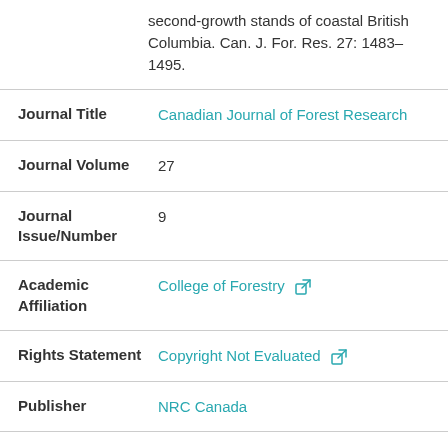second-growth stands of coastal British Columbia. Can. J. For. Res. 27: 1483–1495.
| Field | Value |
| --- | --- |
| Journal Title | Canadian Journal of Forest Research |
| Journal Volume | 27 |
| Journal Issue/Number | 9 |
| Academic Affiliation | College of Forestry |
| Rights Statement | Copyright Not Evaluated |
| Publisher | NRC Canada |
| Peer Reviewed | Yes |